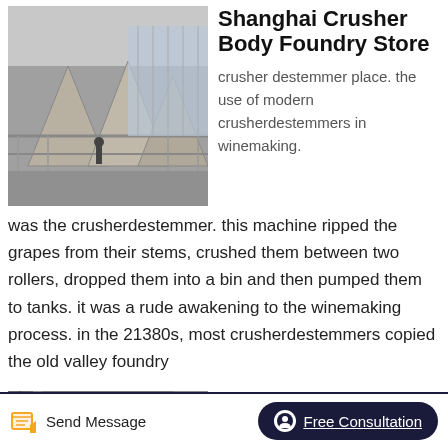[Figure (photo): Industrial crusher machinery at a construction or mining site, showing large cone-shaped crusher bodies on an elevated steel structure with rubble below.]
Shanghai Crusher Body Foundry Store
crusher destemmer place. the use of modern crusherdestemmers in winemaking. was the crusherdestemmer. this machine ripped the grapes from their stems, crushed them between two rollers, dropped them into a bin and then pumped them to tanks. it was a rude awakening to the winemaking process. in the 21380s, most crusherdestemmers copied the old valley foundry
[Figure (photo): Aerial or close-up view of a large industrial crusher machine, showing curved metal surfaces and machinery components.]
Crusher Ne Crusher Reasonable
operating principal of...
Send Message   Free Consultation